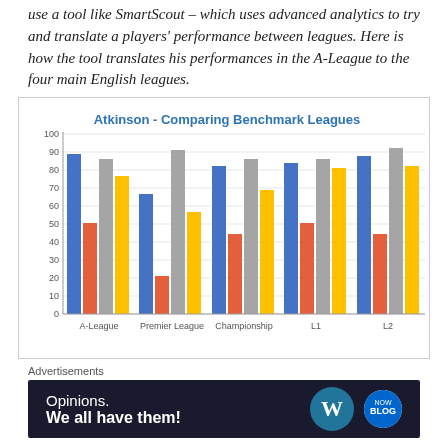use a tool like SmartScout – which uses advanced analytics to try and translate a players' performance between leagues. Here is how the tool translates his performances in the A-League to the four main English leagues.
[Figure (grouped-bar-chart): Atkinson - Comparing Benchmark Leagues]
Advertisements
[Figure (infographic): Advertisement banner: 'Opinions. We all have them!' with WordPress and another logo on dark background]